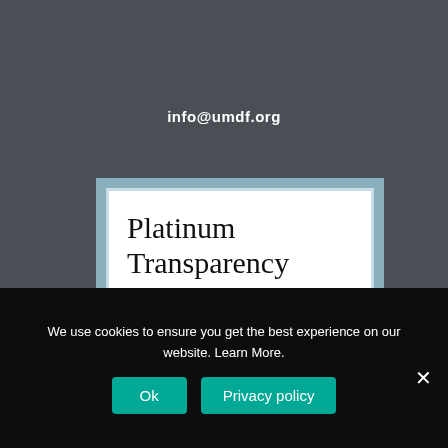info@umdf.org
[Figure (other): Platinum Transparency 2022 badge/seal with light blue outer border and white inner background displaying the text 'Platinum Transparency 2022']
We use cookies to ensure you get the best experience on our website. Learn More.
Ok
Privacy policy